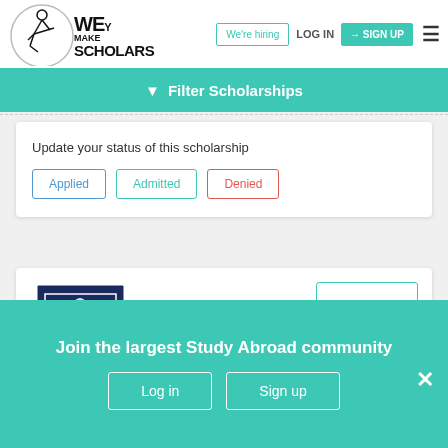[Figure (logo): We Make Scholars logo with circular border and acrobat figure]
We're hiring
LOG IN
SIGN UP
Filter Scholarships
Update your status of this scholarship
Applied
Admitted
Denied
[Figure (logo): University crest/shield logo with open book and floral decorations in navy blue]
Deadline varies
Join the largest Study Abroad community
Log in
Sign up